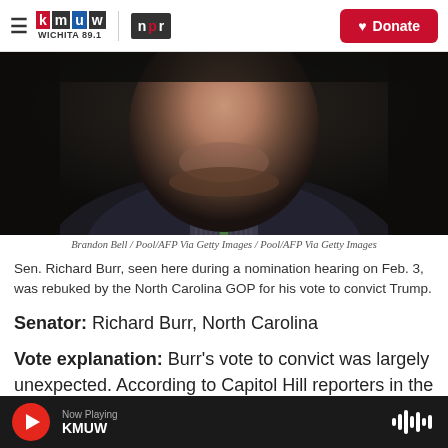KMUW WICHITA 89.1 | NPR | Donate
[Figure (photo): Close-up photo of Sen. Richard Burr in a dark suit with a striped shirt and green tie, photographed during a Senate hearing. The image is dark and dramatic.]
Brandon Bell / Pool/AFP Via Getty Images / Pool/AFP Via Getty Images
Sen. Richard Burr, seen here during a nomination hearing on Feb. 3, was rebuked by the North Carolina GOP for his vote to convict Trump.
Senator: Richard Burr, North Carolina
Vote explanation: Burr's vote to convict was largely unexpected. According to Capitol Hill reporters in the chamber during the vote, there were audible
Now Playing KMUW